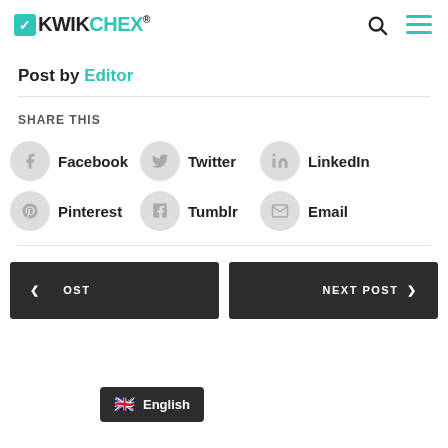KwikChex logo with search and menu icons
Post by Editor
SHARE THIS
Facebook
Twitter
LinkedIn
Pinterest
Tumblr
Email
< POST   NEXT POST >
English